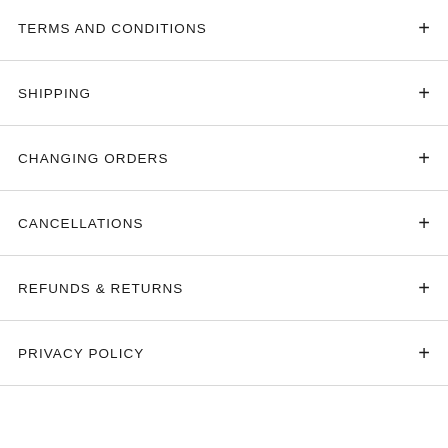TERMS AND CONDITIONS
SHIPPING
CHANGING ORDERS
CANCELLATIONS
REFUNDS & RETURNS
PRIVACY POLICY